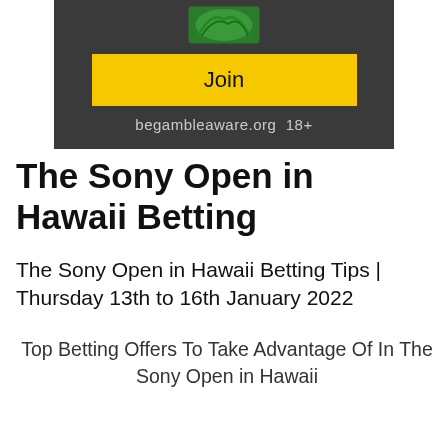[Figure (illustration): Dark banner advertisement with green grass/football pitch graphic at top, yellow 'Join' button, and 'begambleaware.org 18+' text]
The Sony Open in Hawaii Betting
The Sony Open in Hawaii Betting Tips | Thursday 13th to 16th January 2022
Top Betting Offers To Take Advantage Of In The Sony Open in Hawaii